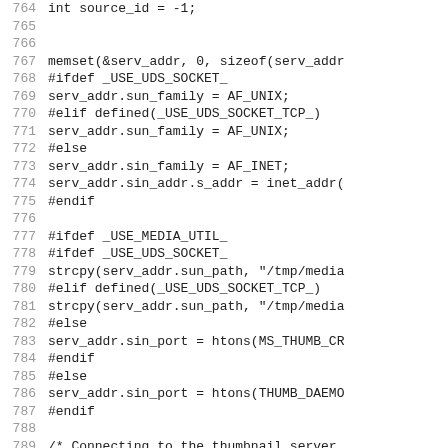[Figure (other): Source code listing (C/C++) showing lines 764-793 with line numbers on the left and code content on the right. Code includes socket setup with #ifdef preprocessor directives for _USE_UDS_SOCKET_, _USE_MEDIA_UTIL_, _USE_UDS_SOCKET_TCP_, and related socket address configuration.]